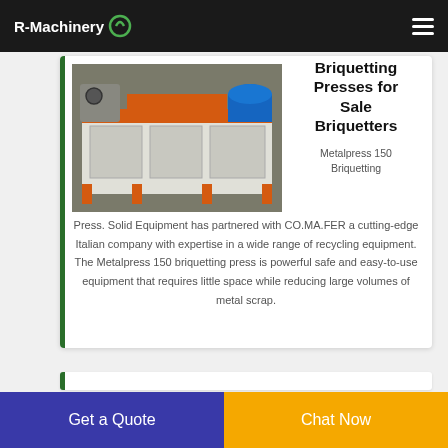R-Machinery
[Figure (photo): Industrial briquetting press machine with orange frame and blue motor, mounted on a white/orange workbench in a workshop setting.]
Briquetting Presses for Sale Briquetters
Metalpress 150 Briquetting Press. Solid Equipment has partnered with CO.MA.FER a cutting-edge Italian company with expertise in a wide range of recycling equipment. The Metalpress 150 briquetting press is powerful safe and easy-to-use equipment that requires little space while reducing large volumes of metal scrap.
Get a Quote
Chat Now